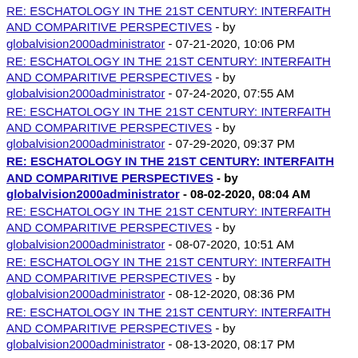RE: ESCHATOLOGY IN THE 21ST CENTURY: INTERFAITH AND COMPARITIVE PERSPECTIVES - by globalvision2000administrator - 07-21-2020, 10:06 PM
RE: ESCHATOLOGY IN THE 21ST CENTURY: INTERFAITH AND COMPARITIVE PERSPECTIVES - by globalvision2000administrator - 07-24-2020, 07:55 AM
RE: ESCHATOLOGY IN THE 21ST CENTURY: INTERFAITH AND COMPARITIVE PERSPECTIVES - by globalvision2000administrator - 07-29-2020, 09:37 PM
RE: ESCHATOLOGY IN THE 21ST CENTURY: INTERFAITH AND COMPARITIVE PERSPECTIVES - by globalvision2000administrator - 08-02-2020, 08:04 AM
RE: ESCHATOLOGY IN THE 21ST CENTURY: INTERFAITH AND COMPARITIVE PERSPECTIVES - by globalvision2000administrator - 08-07-2020, 10:51 AM
RE: ESCHATOLOGY IN THE 21ST CENTURY: INTERFAITH AND COMPARITIVE PERSPECTIVES - by globalvision2000administrator - 08-12-2020, 08:36 PM
RE: ESCHATOLOGY IN THE 21ST CENTURY: INTERFAITH AND COMPARITIVE PERSPECTIVES - by globalvision2000administrator - 08-13-2020, 08:17 PM
RE: ESCHATOLOGY IN THE 21ST CENTURY: INTERFAITH AND COMPARITIVE PERSPECTIVES - by globalvision2000administrator - 08-17-2020, 11:48 AM
RE: ESCHATOLOGY IN THE 21ST CENTURY: